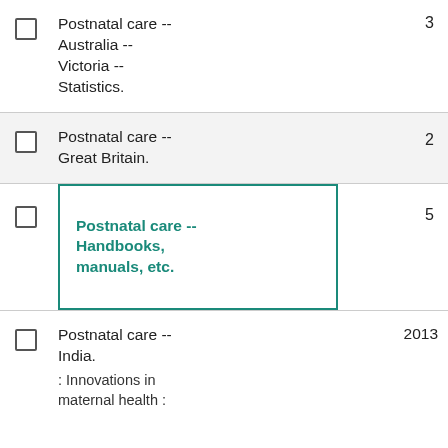Postnatal care -- Australia -- Victoria -- Statistics.
Postnatal care -- Great Britain.
Postnatal care -- Handbooks, manuals, etc.
Postnatal care -- India.